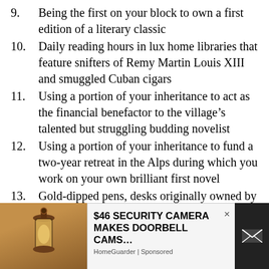9. Being the first on your block to own a first edition of a literary classic
10. Daily reading hours in lux home libraries that feature snifters of Remy Martin Louis XIII and smuggled Cuban cigars
11. Using a portion of your inheritance to act as the financial benefactor to the village’s talented but struggling budding novelist
12. Using a portion of your inheritance to fund a two-year retreat in the Alps during which you work on your own brilliant first novel
13. Gold-dipped pens, desks originally owned by one of the founding fathers (or at least their paltry first [writing]